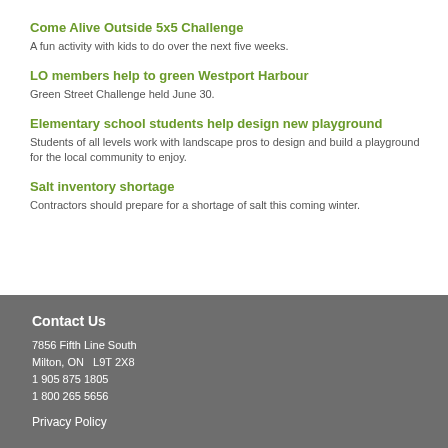Come Alive Outside 5x5 Challenge
A fun activity with kids to do over the next five weeks.
LO members help to green Westport Harbour
Green Street Challenge held June 30.
Elementary school students help design new playground
Students of all levels work with landscape pros to design and build a playground for the local community to enjoy.
Salt inventory shortage
Contractors should prepare for a shortage of salt this coming winter.
Contact Us
7856 Fifth Line South
Milton, ON   L9T 2X8
1 905 875 1805
1 800 265 5656
Privacy Policy